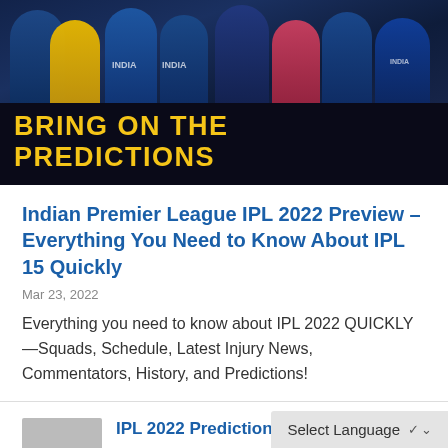[Figure (photo): Banner image showing IPL cricket players with the text 'BRING ON THE PREDICTIONS' in bold yellow letters on a dark background.]
Indian Premier League IPL 2022 Preview – Everything You Need to Know About IPL 15 Quickly
Mar 23, 2022
Everything you need to know about IPL 2022 QUICKLY—Squads, Schedule, Latest Injury News, Commentators, History, and Predictions!
[Figure (photo): Thumbnail image partially visible next to a partially clipped article title about IPL 2022 Prediction Results.]